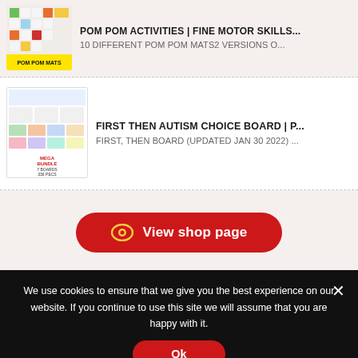[Figure (screenshot): Pom pom mats product thumbnail image with yellow label at bottom]
POM POM ACTIVITIES | FINE MOTOR SKILLS...
10 DIFFERENT POM POM MATS2 VERSIONS O...
[Figure (screenshot): First Then Autism Choice Board mega bundle product thumbnail image]
FIRST THEN AUTISM CHOICE BOARD | P...
FIRST, THEN BOARD (UPDATED JAN 30 2022) ...
View shop page
We use cookies to ensure that we give you the best experience on our website. If you continue to use this site we will assume that you are happy with it.
Ok